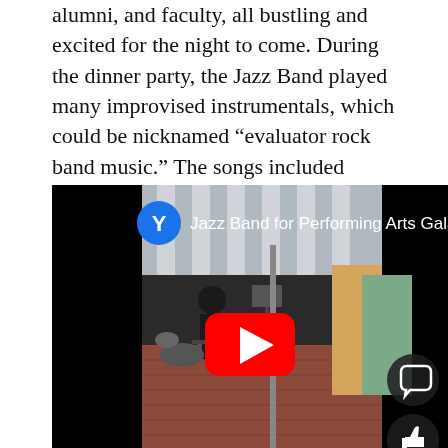alumni, and faculty, all bustling and excited for the night to come. During the dinner party, the Jazz Band played many improvised instrumentals, which could be nicknamed “evaluator rock band music.” The songs included many solos, especially from the piano and drums.
[Figure (screenshot): YouTube video thumbnail showing Jazz Band for Performing Arts Gala Event 20.. with a play button overlay, musicians visible in outdoor courtyard setting, two social icons (comment and like) in bottom right corner.]